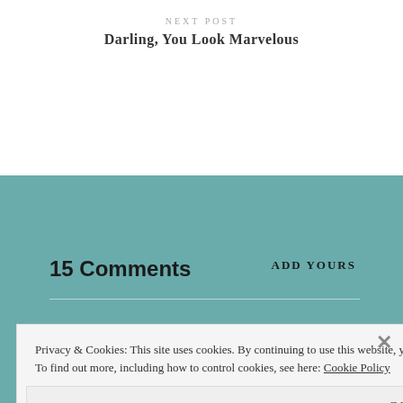NEXT POST
Darling, You Look Marvelous
15 Comments
ADD YOURS
Privacy & Cookies: This site uses cookies. By continuing to use this website, you agree to their use.
To find out more, including how to control cookies, see here: Cookie Policy
Close and accept